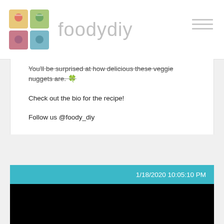foodydiy
You'll be surprised at how delicious these veggie nuggets are. 🍀

Check out the bio for the recipe!

Follow us @foody_diy
1/18/2020 10:05:10 PM
[Figure (photo): Black rectangle representing a video or image area below the post card]